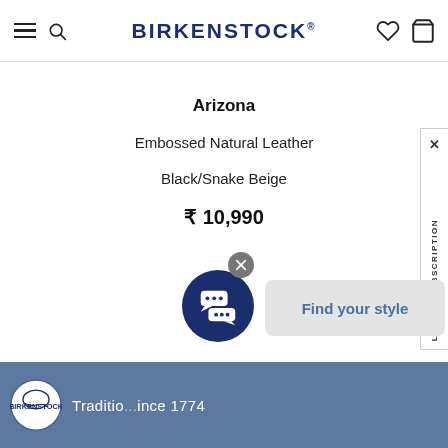BIRKENSTOCK
Arizona
Embossed Natural Leather
Black/Snake Beige
₹ 10,990
[Figure (infographic): Chat bubble widget with close button (X) and speech bubbles icon on dark navy background circle]
Find your style
[Figure (logo): Birkenstock circular logo with shoe/foot illustration, on blue footer banner]
Traditio... ince 1774
LETTER SUBSCRIPTION X